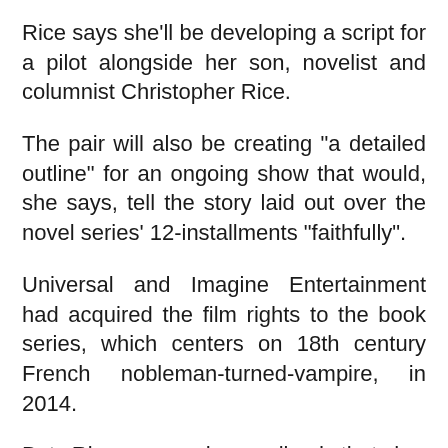Rice says she'll be developing a script for a pilot alongside her son, novelist and columnist Christopher Rice.
The pair will also be creating "a detailed outline" for an ongoing show that would, she says, tell the story laid out over the novel series' 12-installments "faithfully".
Universal and Imagine Entertainment had acquired the film rights to the book series, which centers on 18th century French nobleman-turned-vampire, in 2014.
But Rice says she realised that her stories are better suited for TV. "Though we had the